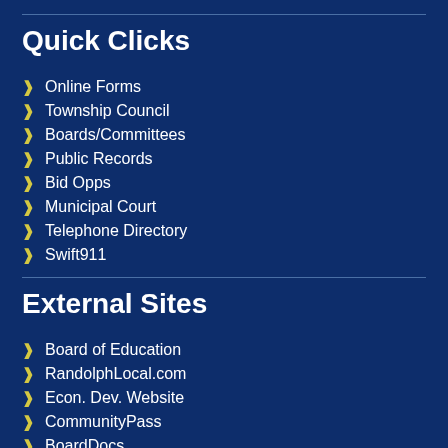Quick Clicks
Online Forms
Township Council
Boards/Committees
Public Records
Bid Opps
Municipal Court
Telephone Directory
Swift911
External Sites
Board of Education
RandolphLocal.com
Econ. Dev. Website
CommunityPass
BoardDocs
Township Code
Pay Taxes Online
Pay Sewer/Water